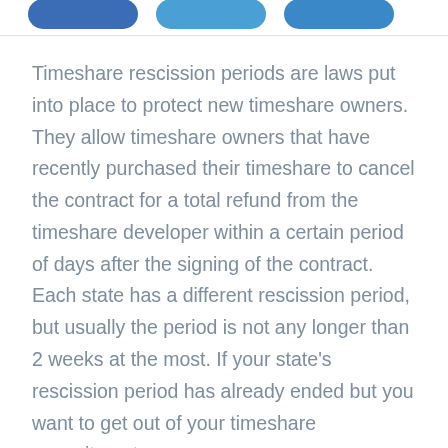[Figure (other): Three blue rounded button/tab shapes partially visible at the top of the page, cropped at the top edge.]
Timeshare rescission periods are laws put into place to protect new timeshare owners. They allow timeshare owners that have recently purchased their timeshare to cancel the contract for a total refund from the timeshare developer within a certain period of days after the signing of the contract. Each state has a different rescission period, but usually the period is not any longer than 2 weeks at the most. If your state’s rescission period has already ended but you want to get out of your timeshare commitment,